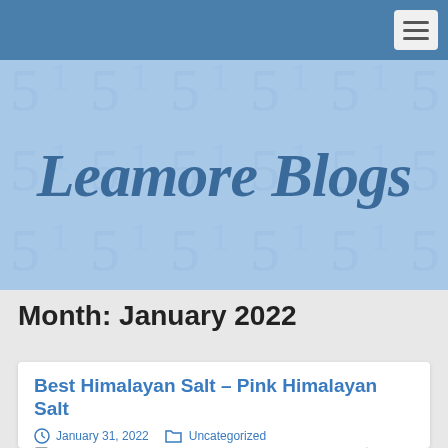Leamore Blogs navigation bar
Leamore Blogs
Month: January 2022
Best Himalayan Salt – Pink Himalayan Salt
January 31, 2022  Uncategorized  Comments Off  Gerald